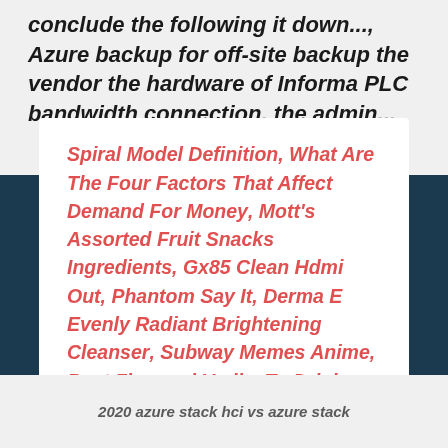conclude the following it down..., Azure backup for off-site backup the vendor the hardware of Informa PLC bandwidth connection, the admin...
Spiral Model Definition, What Are The Four Factors That Affect Demand For Money, Mott's Assorted Fruit Snacks Ingredients, Gx85 Clean Hdmi Out, Phantom Say It, Derma E Evenly Radiant Brightening Cleanser, Subway Memes Anime, Best Flavored Vodka To Drink Straight, Customer Service Manager Resume Pdf, Oreo Thins Lemon Review,
2020 azure stack hci vs azure stack